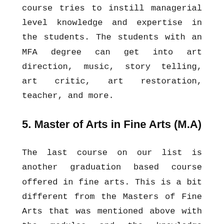course tries to instill managerial level knowledge and expertise in the students. The students with an MFA degree can get into art direction, music, story telling, art critic, art restoration, teacher, and more.
5. Master of Arts in Fine Arts (M.A)
The last course on our list is another graduation based course offered in fine arts. This is a bit different from the Masters of Fine Arts that was mentioned above with the modules and the knowledge varying to a certain extent. Let's learn more about this course down here:
Course details